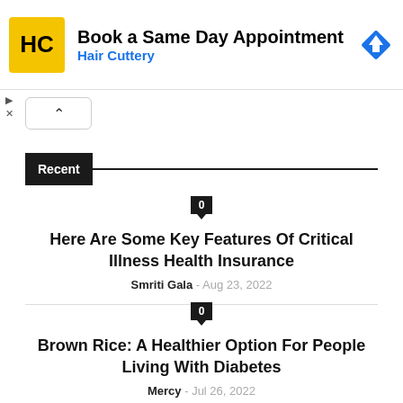[Figure (other): Hair Cuttery advertisement banner with yellow logo, 'Book a Same Day Appointment' text, and blue turn-by-turn navigation icon]
Recent
Here Are Some Key Features Of Critical Illness Health Insurance
Smriti Gala - Aug 23, 2022
Brown Rice: A Healthier Option For People Living With Diabetes
Mercy - Jul 26, 2022